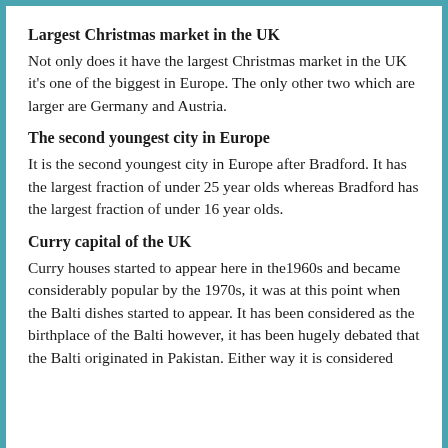Largest Christmas market in the UK
Not only does it have the largest Christmas market in the UK it's one of the biggest in Europe. The only other two which are larger are Germany and Austria.
The second youngest city in Europe
It is the second youngest city in Europe after Bradford. It has the largest fraction of under 25 year olds whereas Bradford has the largest fraction of under 16 year olds.
Curry capital of the UK
Curry houses started to appear here in the1960s and became considerably popular by the 1970s, it was at this point when the Balti dishes started to appear. It has been considered as the birthplace of the Balti however, it has been hugely debated that the Balti originated in Pakistan. Either way it is considered...